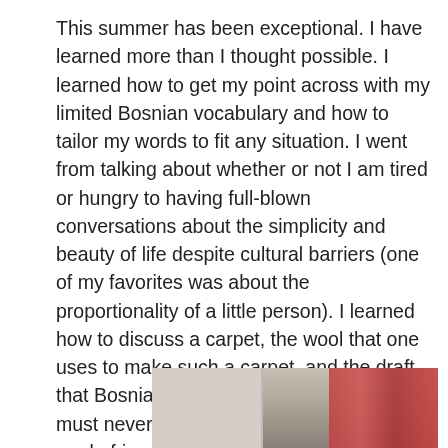This summer has been exceptional.  I have learned more than I thought possible.  I learned how to get my point across with my limited Bosnian vocabulary and how to tailor my words to fit any situation.  I went from talking about whether or not I am tired or hungry to having full-blown conversations about the simplicity and beauty of life despite cultural barriers (one of my favorites was about the proportionality of a little person).  I learned how to discuss a carpet, the wool that one uses to make such a carpet, and the draft that Bosnians deeply fear.  I learned that I must never go outside with wet hair.  I made friends.  I connected with an ex-pat community and made great friends with the women working at BOSFAM.  I traveled to Eastern Bosnia, Sarajevo, Srebrenica, Croatia, and Montenegro.  Most importantly, I learned the stories of the women who I have come to love.  I learned about their pain, their humility, and their strength.
[Figure (photo): Partial view of a photograph at the bottom of the page showing what appears to be an interior space with some colorful objects visible on the right side.]